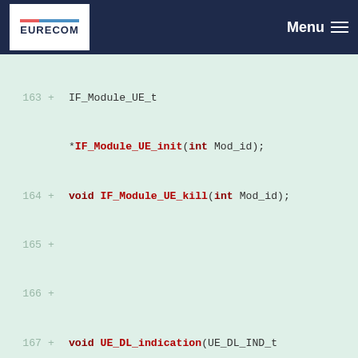EURECOM — Menu
[Figure (screenshot): Code diff view showing lines 163-176 of a C header file with function declarations for IF_Module_UE_init, IF_Module_UE_kill, UE_DL_indication, UE_Tx_indication, UE_schedule_response, and #endif]